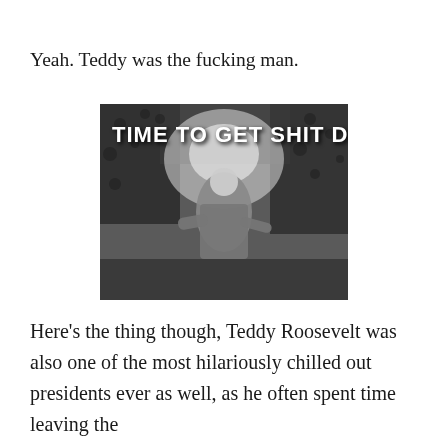Yeah. Teddy was the fucking man.
[Figure (photo): Black and white photograph of Teddy Roosevelt outdoors with trees/bushes in background. White bold text overlay reads: TIME TO GET SHIT DONE]
Here’s the thing though, Teddy Roosevelt was also one of the most hilariously chilled out presidents ever as well, as he often spent time leaving the